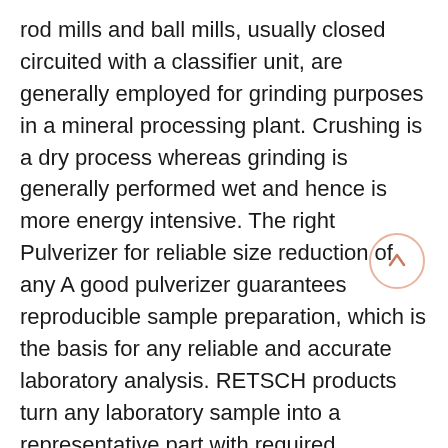rod mills and ball mills, usually closed circuited with a classifier unit, are generally employed for grinding purposes in a mineral processing plant. Crushing is a dry process whereas grinding is generally performed wet and hence is more energy intensive. The right Pulverizer for reliable size reduction of any A good pulverizer guarantees reproducible sample preparation, which is the basis for any reliable and accurate laboratory analysis. RETSCH products turn any laboratory sample into a representative part with required homogeneous analytical fineness. Product Overview. Our comprehensive range of the most modern pulverizer mills and crushers are suitable for coarse, fine and ultra-fine size Carbon dioxide sequestration by mines: implications for 06.03.2022 · Ball milling of waste from quarrying increases the CO 2The assessment of CO 2 sequestration in the laboratory is carried out at a small scale,Cao W, Jiang Y (2022) Life cycle assessment on lead-zinc ore mining and beneficiation in China. J Clean